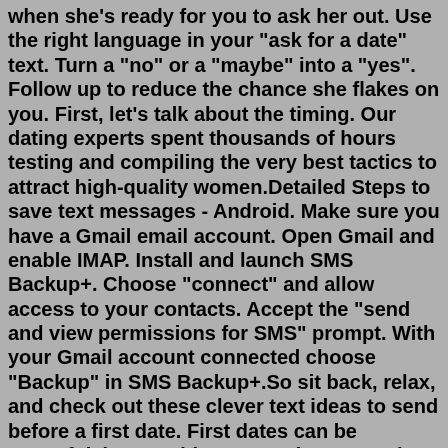when she's ready for you to ask her out. Use the right language in your "ask for a date" text. Turn a "no" or a "maybe" into a "yes". Follow up to reduce the chance she flakes on you. First, let's talk about the timing. Our dating experts spent thousands of hours testing and compiling the very best tactics to attract high-quality women.Detailed Steps to save text messages - Android. Make sure you have a Gmail email account. Open Gmail and enable IMAP. Install and launch SMS Backup+. Choose "connect" and allow access to your contacts. Accept the "send and view permissions for SMS" prompt. With your Gmail account connected choose "Backup" in SMS Backup+.So sit back, relax, and check out these clever text ideas to send before a first date. First dates can be stressful, but reaching out to the person is a great way to ease the tension. 01 "Omg, I'm... Jan 26, 2021 · It will make them laugh while leading to a fun topic. 2. #GoodDay. FLIRTY FIRST TEXT: “Wow, this was shaping up to be just another [day of the week]—and then I matched with you. #GoodDay". WHY IT’S